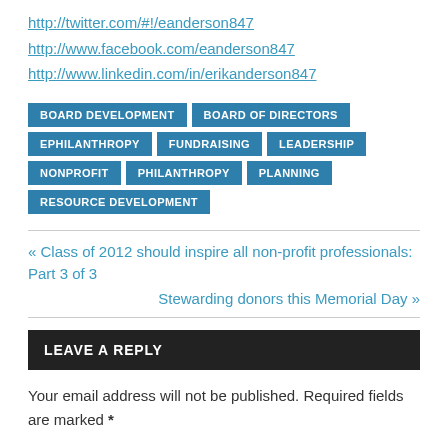http://twitter.com/#!/eanderson847
http://www.facebook.com/eanderson847
http://www.linkedin.com/in/erikanderson847
BOARD DEVELOPMENT
BOARD OF DIRECTORS
EPHILANTHROPY
FUNDRAISING
LEADERSHIP
NONPROFIT
PHILANTHROPY
PLANNING
RESOURCE DEVELOPMENT
« Class of 2012 should inspire all non-profit professionals: Part 3 of 3
Stewarding donors this Memorial Day »
LEAVE A REPLY
Your email address will not be published. Required fields are marked *